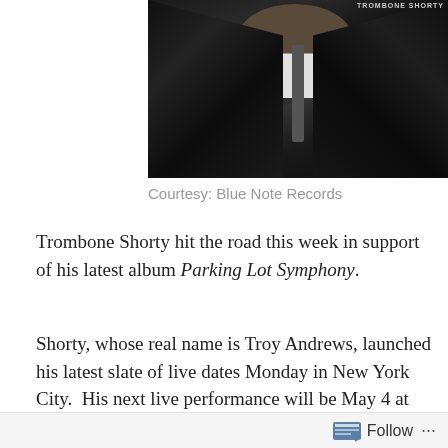[Figure (photo): Black and white photo of Trombone Shorty (Troy Andrews) wearing a leather jacket with a white v-neck shirt, with 'TROMBONE SHORTY' text visible in upper right area of image]
Courtesy: Blue Note Records
Trombone Shorty hit the road this week in support of his latest album Parking Lot Symphony.
Shorty, whose real name is Troy Andrews, launched his latest slate of live dates Monday in New York City.  His next live performance will be May 4 at Shorty Fest at the House of Blues in New Orleans, LA.  Andrews' latest tour also includes a performance at The Ritz Raleigh on